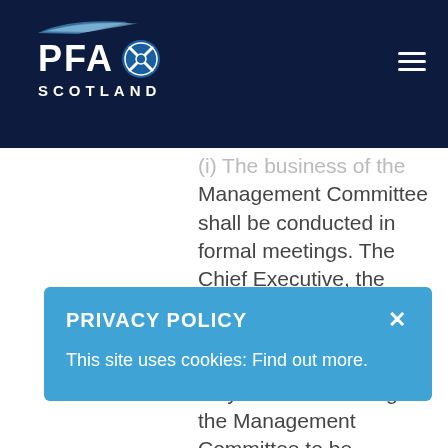PFA Scotland
(i) The business of the Management Committee shall be conducted in formal meetings. The Chief Executive, the Chairman or any 2 members of the Management Committee may cause a meeting of the Management Committee to be [convened giving...] the [notice...] at [which...] shorter notice as may
[Figure (other): Privacy Policy cookie consent popup overlay with blue background, title 'PRIVACY POLICY', close button X, and text 'This site uses cookies: Find out more.']